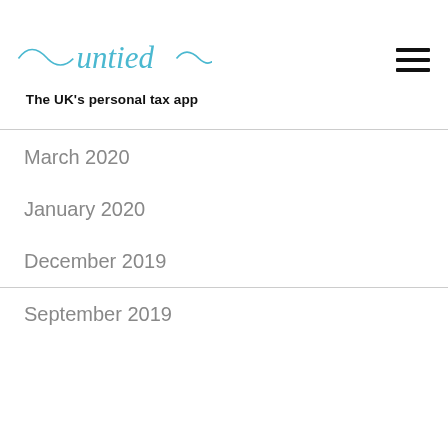untied — The UK's personal tax app
March 2020
January 2020
December 2019
September 2019
untied uses cookies to give you a relevant experience. Our privacy policy has more on how we use cookies.

We won't track your visits to the untied website. But to comply with your preferences, we set one tiny cookie so you're not asked to make this choice again. If you log in to your untied account, this will require the use of cookies and local storage.